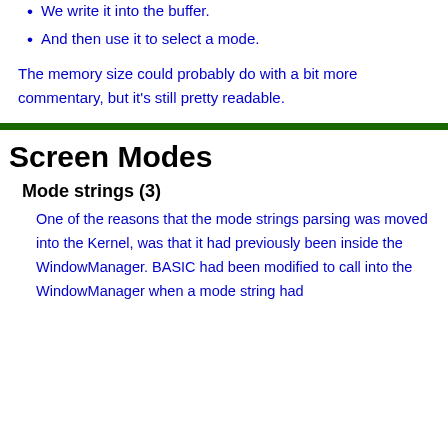We write it into the buffer.
And then use it to select a mode.
The memory size could probably do with a bit more commentary, but it's still pretty readable.
Screen Modes
Mode strings (3)
One of the reasons that the mode strings parsing was moved into the Kernel, was that it had previously been inside the WindowManager. BASIC had been modified to call into the WindowManager when a mode string had